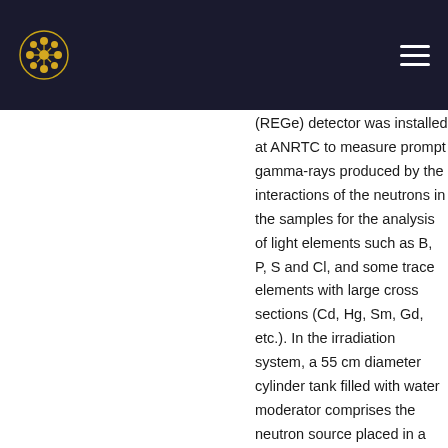Logo and navigation menu header
(REGe) detector was installed at ANRTC to measure prompt gamma-rays produced by the interactions of the neutrons in the samples for the analysis of light elements such as B, P, S and Cl, and some trace elements with large cross sections (Cd, Hg, Sm, Gd, etc.). In the irradiation system, a 55 cm diameter cylinder tank filled with water moderator comprises the neutron source placed in a polypropylene tube that was coaxially positioned in the rings (internal diameter: 9 cm and outer diameter: 21 cm) in order to reduce the gamma rays emitted directly from the source such as 0.0596 MeV (241Am) and 4.43 MeV (one gamma per neutron) from the excited state of 13C* via the 9Be(α, n)12C reaction in the source. The moderator tank was shielded with paraffin in all sides against fast neutrons. The thickness of paraffin at the front side of the tank is 9 cm and 18 cm at other sides. The neutron irradiation system was also shielded by using chevron lead bricks of 18 cm thickness. The background-prominent gamma rays, w especially the 2.223 MeV gamma ray from the 1H(n,y) reaction formed in hydrogenous materials used for m